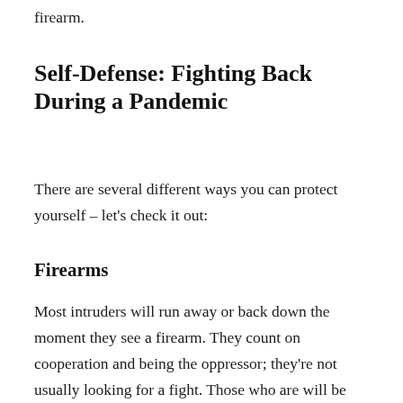firearm.
Self-Defense: Fighting Back During a Pandemic
There are several different ways you can protect yourself – let's check it out:
Firearms
Most intruders will run away or back down the moment they see a firearm. They count on cooperation and being the oppressor; they're not usually looking for a fight. Those who are will be prepared to use lethal force – which